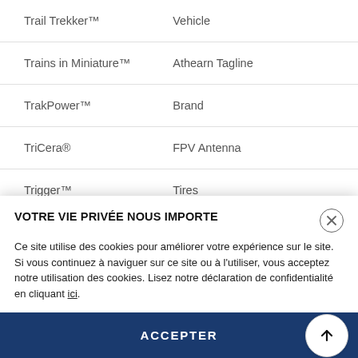| Trademark | Category |
| --- | --- |
| Trail Trekker™ | Vehicle |
| Trains in Miniature™ | Athearn Tagline |
| TrakPower™ | Brand |
| TriCera® | FPV Antenna |
| Trigger™ | Tires |
| Triple Threat™ | Tires |
| TurboKick® | Supplemental Power/Boost |
| Ultra Stick™ | Aircraft |
VOTRE VIE PRIVÉE NOUS IMPORTE
Ce site utilise des cookies pour améliorer votre expérience sur le site. Si vous continuez à naviguer sur ce site ou à l'utiliser, vous acceptez notre utilisation des cookies. Lisez notre déclaration de confidentialité en cliquant ici.
ACCEPTER